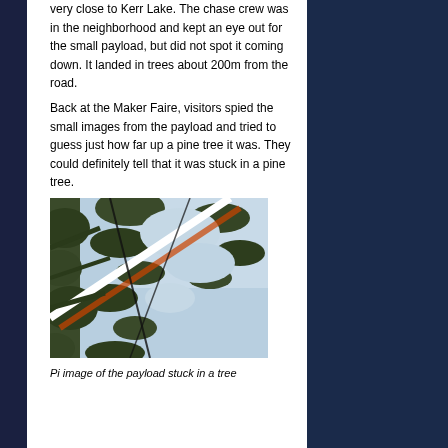very close to Kerr Lake.  The chase crew was in the neighborhood and kept an eye out for the small payload, but did not spot it coming down.  It landed in trees about 200m from the road.
Back at the Maker Faire, visitors spied the small images from the payload and tried to guess just how far up a pine tree it was.  They could definitely tell that it was stuck in a pine tree.
[Figure (photo): Upward-looking photo from payload stuck in a pine tree, showing pine branches, sky, and an orange/white diagonal element across the frame.]
Pi image of the payload stuck in a tree